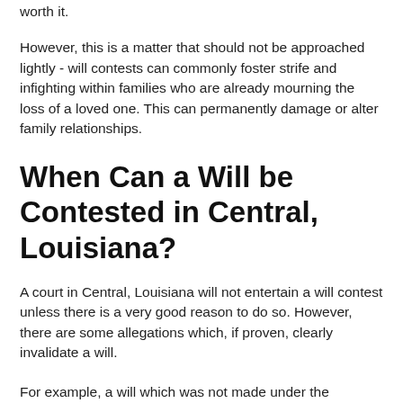worth it.
However, this is a matter that should not be approached lightly - will contests can commonly foster strife and infighting within families who are already mourning the loss of a loved one. This can permanently damage or alter family relationships.
When Can a Will be Contested in Central, Louisiana?
A court in Central, Louisiana will not entertain a will contest unless there is a very good reason to do so. However, there are some allegations which, if proven, clearly invalidate a will.
For example, a will which was not made under the testator's own volition and free will is not valid. This means that the testator must be acting voluntarily throughout the entire process of making his will. Therefore, a will made